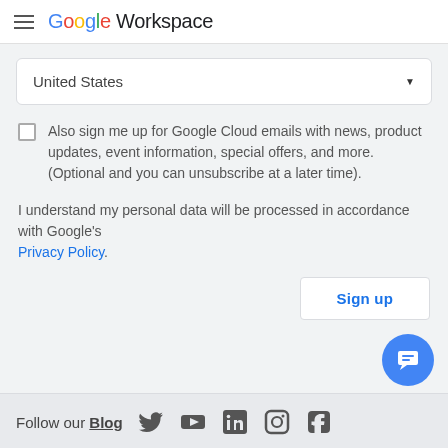Google Workspace
United States
Also sign me up for Google Cloud emails with news, product updates, event information, special offers, and more. (Optional and you can unsubscribe at a later time).
I understand my personal data will be processed in accordance with Google's Privacy Policy.
Sign up
Follow our Blog